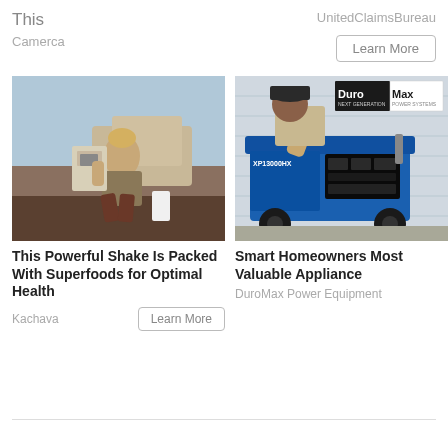This
Camerca
UnitedClaimsBureau
Learn More
[Figure (photo): Woman crouching outdoors holding a bag, with rocky terrain in the background]
This Powerful Shake Is Packed With Superfoods for Optimal Health
Kachava
Learn More
[Figure (photo): Person working on a DuroMax XP13000HX generator outside a building]
Smart Homeowners Most Valuable Appliance
DuroMax Power Equipment